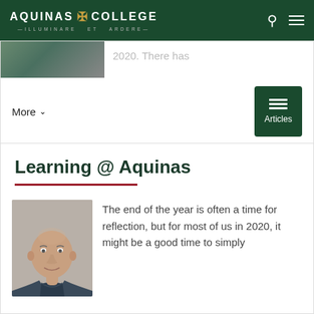AQUINAS COLLEGE — ILLUMINARE ET ARDERE
[Figure (screenshot): Partial image of a person or scene, cropped at top of card]
2020. There has
More ∨
[Figure (infographic): Green Articles button with hamburger menu icon]
Learning @ Aquinas
[Figure (photo): Headshot of a middle-aged bald man in a jacket, smiling]
The end of the year is often a time for reflection, but for most of us in 2020, it might be a good time to simply